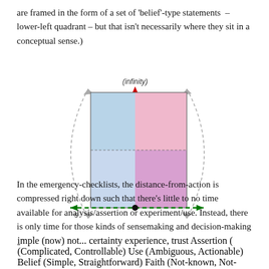are framed in the form of a set of 'belief'-type statements – lower-left quadrant – but that isn't necessarily where they sit in a conceptual sense.)
[Figure (other): A 2x2 quadrant diagram with axes: vertical axis (red dashed arrow) labeled '(infinity)' at top; horizontal axis (green dashed arrow) labeled 'simple' at left, '(now)' at center, 'not...' at right. Left side labeled 'certainty', right side labeled 'experience, trust'. Top-left quadrant (light blue): Assertion (Complicated, Controllable). Top-right quadrant (pink): Use (Ambiguous, Actionable). Bottom-left quadrant (light blue): Belief (Simple, Straightforward). Bottom-right quadrant (pink/purple): Faith (Not-known, Not-certain). A black dot at center-bottom of the box.]
In the emergency-checklists, the distance-from-action is compressed right down such that there's little to no time available for analysis/assertion or experiment/use. Instead, there is only time for those kinds of sensemaking and decision-making